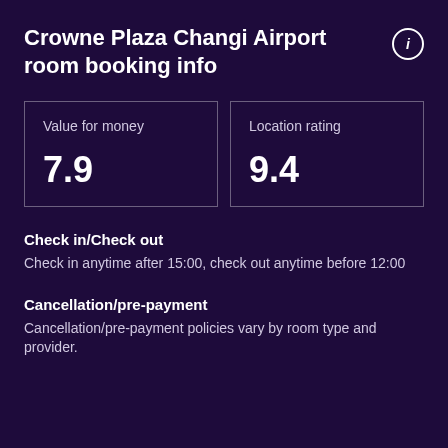Crowne Plaza Changi Airport room booking info
Value for money
7.9
Location rating
9.4
Check in/Check out
Check in anytime after 15:00, check out anytime before 12:00
Cancellation/pre-payment
Cancellation/pre-payment policies vary by room type and provider.